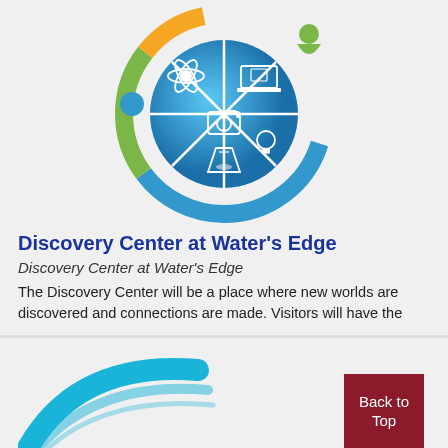[Figure (logo): Discovery Center at Water's Edge circular logo featuring icons for science (atom), technology (laptop), photography (camera), chemistry (flask), and social/people figures, with blue, green, and yellow/orange segments around a central sphere.]
Discovery Center at Water's Edge
Discovery Center at Water's Edge
The Discovery Center will be a place where new worlds are discovered and connections are made. Visitors will have the ...
[Figure (logo): Partial view of a teal/cyan swoosh or arc logo at the bottom of the page.]